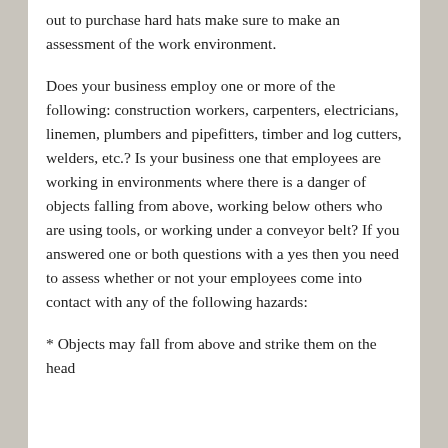out to purchase hard hats make sure to make an assessment of the work environment.
Does your business employ one or more of the following: construction workers, carpenters, electricians, linemen, plumbers and pipefitters, timber and log cutters, welders, etc.? Is your business one that employees are working in environments where there is a danger of objects falling from above, working below others who are using tools, or working under a conveyor belt? If you answered one or both questions with a yes then you need to assess whether or not your employees come into contact with any of the following hazards:
* Objects may fall from above and strike them on the head